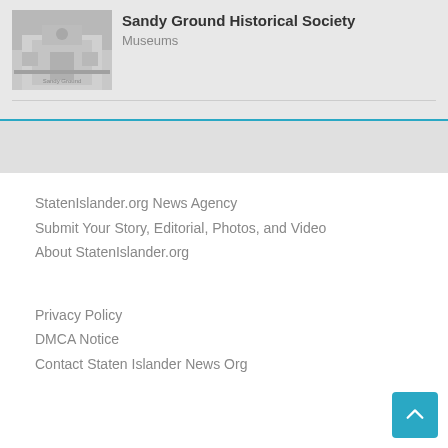[Figure (photo): Photo of Sandy Ground Historical Society building exterior, gray tones]
Sandy Ground Historical Society
Museums
StatenIslander.org News Agency
Submit Your Story, Editorial, Photos, and Video
About StatenIslander.org
Privacy Policy
DMCA Notice
Contact Staten Islander News Org